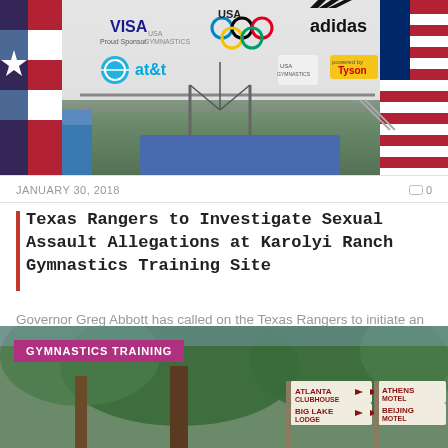[Figure (photo): Gymnastics training facility with sponsor banners including VISA, USA Gymnastics, Olympic rings, adidas, AT&T, and Tyson, with an American flag visible on the right]
JANUARY 30, 2018
0
Texas Rangers to Investigate Sexual Assault Allegations at Karolyi Ranch Gymnastics Training Site
Governor Greg Abbott has called on the Texas Rangers to initiate an investigation into the...
[Figure (photo): Outdoor scene with trees and road signs including Atlanta Clubhouse, Big Lake Lodge, Athens Motel, and Beijing Motel, with a pink GYMNASTICS TRAINING label overlay]